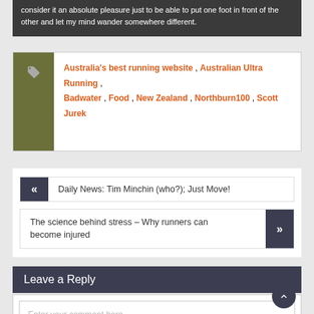consider it an absolute pleasure just to be able to put one foot in front of the other and let my mind wander somewhere different.
Australia's best running website , Australian Ultra Running , Badwater , Food , New Zealand , Northburn100 , Scott Jurek
Daily News: Tim Minchin (who?); Just Move!
The science behind stress – Why runners can become injured
Leave a Reply
Enter your comment here...